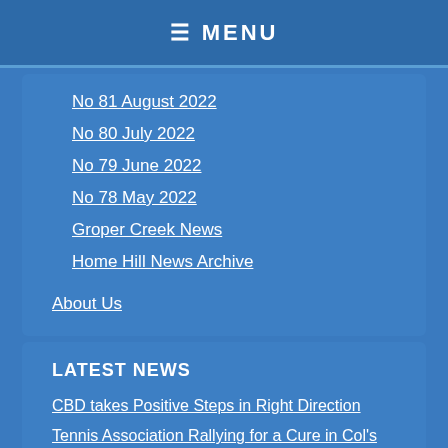≡ MENU
No 81 August 2022
No 80 July 2022
No 79 June 2022
No 78 May 2022
Groper Creek News
Home Hill News Archive
About Us
LATEST NEWS
CBD takes Positive Steps in Right Direction
Tennis Association Rallying for a Cure in Col's Memory